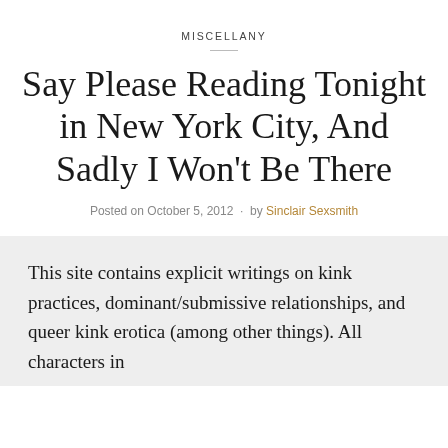MISCELLANY
Say Please Reading Tonight in New York City, And Sadly I Won't Be There
Posted on October 5, 2012 · by Sinclair Sexsmith
This site contains explicit writings on kink practices, dominant/submissive relationships, and queer kink erotica (among other things). All characters in